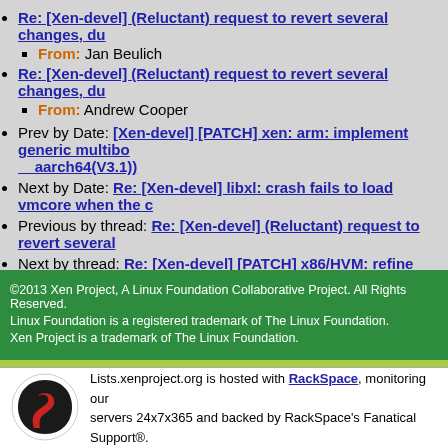Re: [Xen-devel] (Reluctant) request to revert several changes, du
From: Jan Beulich
Re: [Xen-devel] (Reluctant) request to revert several changes, du
From: Andrew Cooper
Prev by Date: [Xen-devel] [PATCH] xen: arm: implement generic multibo aarch64(V3.1))
Next by Date: Re: [Xen-devel] libxl: crash fails to load vmcore when the
Previous by thread: Re: [Xen-devel] (Reluctant) request to revert several
Next by thread: Re: [Xen-devel] [PATCH] x86/HVM: refine SMEP/SMAP te
Index(es):
Date
Thread
©2013 Xen Project, A Linux Foundation Collaborative Project. All Rights Reserved. Linux Foundation is a registered trademark of The Linux Foundation. Xen Project is a trademark of The Linux Foundation.
Lists.xenproject.org is hosted with RackSpace, monitoring our servers 24x7x365 and backed by RackSpace's Fanatical Support®.